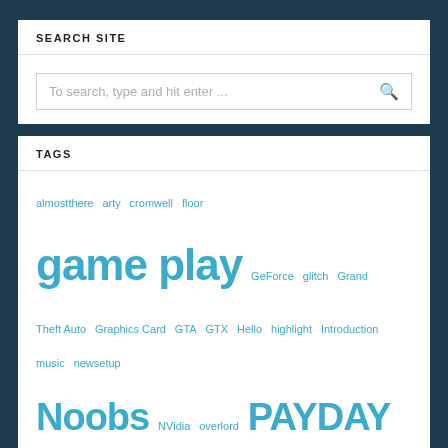SEARCH SITE
To search, type and hit enter ...
TAGS
almostthere arty cromwell floor game play GeForce glitch Grand Theft Auto Graphics Card GTA GTX Hello highlight Introduction music newsetup Noobs NVidia overlord PAYDAY 2 sofapcchair spotify Video Welcome world of tanks
RECENT POSTS
World of Tanks – The Floors The Limit